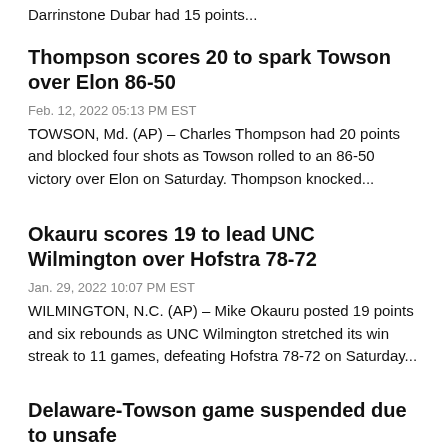Darrinstone Dubar had 15 points...
Thompson scores 20 to spark Towson over Elon 86-50
Feb. 12, 2022 05:13 PM EST
TOWSON, Md. (AP) – Charles Thompson had 20 points and blocked four shots as Towson rolled to an 86-50 victory over Elon on Saturday. Thompson knocked...
Okauru scores 19 to lead UNC Wilmington over Hofstra 78-72
Jan. 29, 2022 10:07 PM EST
WILMINGTON, N.C. (AP) – Mike Okauru posted 19 points and six rebounds as UNC Wilmington stretched its win streak to 11 games, defeating Hofstra 78-72 on Saturday...
Delaware-Towson game suspended due to unsafe